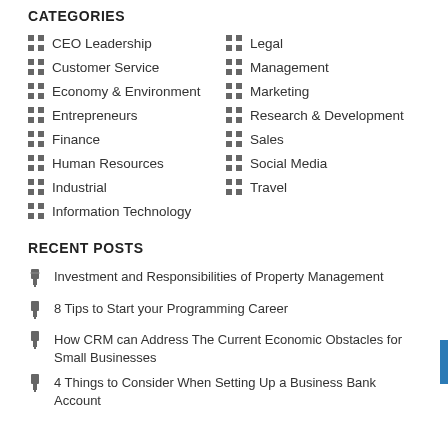CATEGORIES
CEO Leadership
Legal
Customer Service
Management
Economy & Environment
Marketing
Entrepreneurs
Research & Development
Finance
Sales
Human Resources
Social Media
Industrial
Travel
Information Technology
RECENT POSTS
Investment and Responsibilities of Property Management
8 Tips to Start your Programming Career
How CRM can Address The Current Economic Obstacles for Small Businesses
4 Things to Consider When Setting Up a Business Bank Account